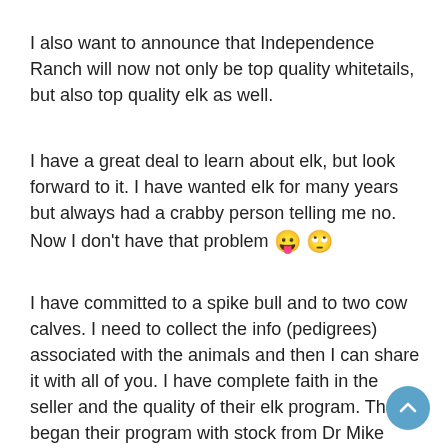I also want to announce that Independence Ranch will now not only be top quality whitetails, but also top quality elk as well.
I have a great deal to learn about elk, but look forward to it. I have wanted elk for many years but always had a crabby person telling me no. Now I don't have that problem 😛 🙄
I have committed to a spike bull and to two cow calves. I need to collect the info (pedigrees) associated with the animals and then I can share it with all of you. I have complete faith in the seller and the quality of their elk program. They began their program with stock from Dr Mike Bringans who had the very best herd in the world until he recently sold out. I am buying my stock from Dirk and Jane Stolz of Tamarack Deer and Elk Farms.